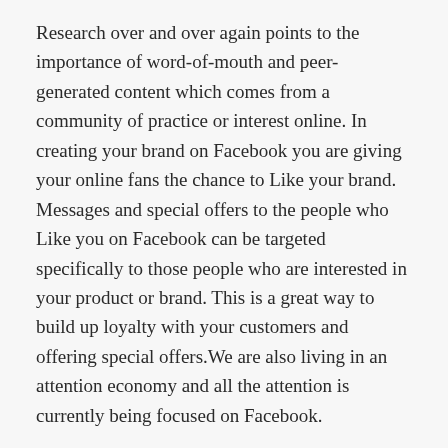Research over and over again points to the importance of word-of-mouth and peer-generated content which comes from a community of practice or interest online. In creating your brand on Facebook you are giving your online fans the chance to Like your brand. Messages and special offers to the people who Like you on Facebook can be targeted specifically to those people who are interested in your product or brand. This is a great way to build up loyalty with your customers and offering special offers.We are also living in an attention economy and all the attention is currently being focused on Facebook.
Your brand needs to make decisions to shift time, money, effort and resources into creating an online presence and figure out the right way that builds relationships and drives traffic back to your website. It is